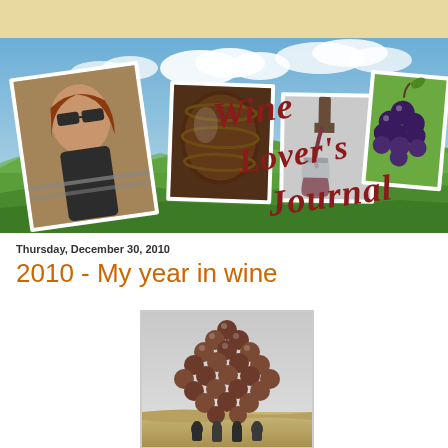[Figure (illustration): Wine Lover's Journal blog header banner with cursive red title text, photos of a woman with sunglasses, wine barrels, wine pouring, Tuscan vineyard landscape, and a bunch of dark grapes]
Thursday, December 30, 2010
2010 - My year in wine
[Figure (photo): A giant sculpture or art installation of a large bunch of dark/brown grapes, very tall, with small people visible at the base supporting or standing near it, set against an overcast sky and field background]